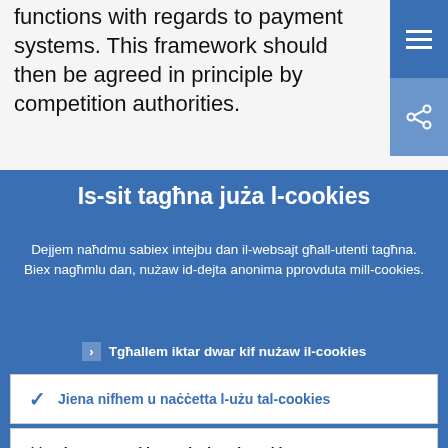functions with regards to payment systems. This framework should then be agreed in principle by competition authorities.
Is-sit tagħna juża l-cookies
Dejjem naħdmu sabiex intejbu dan il-websajt għall-utenti tagħna. Biex nagħmlu dan, nużaw id-dejta anonima pprovduta mill-cookies.
Tgħallem iktar dwar kif nużaw il-cookies
Jiena nifhem u naċċetta l-użu tal-cookies
Jiena ma naċċettax l-użu tal-cookies